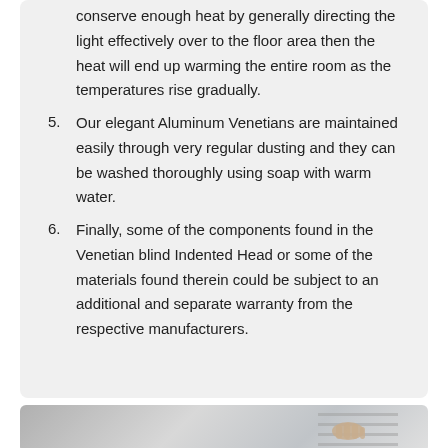conserve enough heat by generally directing the light effectively over to the floor area then the heat will end up warming the entire room as the temperatures rise gradually.
5. Our elegant Aluminum Venetians are maintained easily through very regular dusting and they can be washed thoroughly using soap with warm water.
6. Finally, some of the components found in the Venetian blind Indented Head or some of the materials found therein could be subject to an additional and separate warranty from the respective manufacturers.
[Figure (photo): Photo of hands adjusting venetian blinds, partially visible at bottom of page]